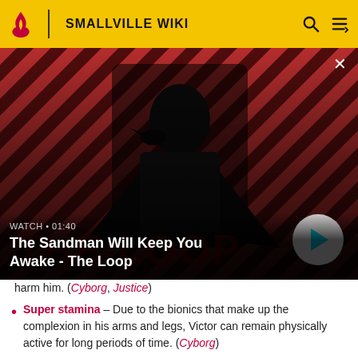SMALLVILLE WIKI
[Figure (screenshot): Video thumbnail for 'The Sandman Will Keep You Awake - The Loop' showing a dark-cloaked figure with a crow on a striped red/dark background. Duration shown as 01:40. Play button visible.]
harm him. (Cyborg, Justice)
Super stamina - Due to the bionics that make up the complexion in his arms and legs, Victor can remain physically active for long periods of time. (Cyborg)
Enhanced speed - Due to the bionics that make up the...